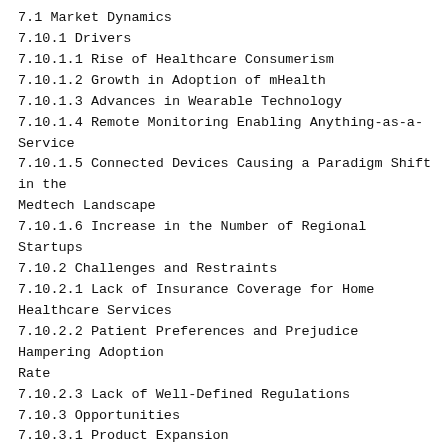7.1 Market Dynamics
7.10.1 Drivers
7.10.1.1 Rise of Healthcare Consumerism
7.10.1.2 Growth in Adoption of mHealth
7.10.1.3 Advances in Wearable Technology
7.10.1.4 Remote Monitoring Enabling Anything-as-a-Service
7.10.1.5 Connected Devices Causing a Paradigm Shift in the Medtech Landscape
7.10.1.6 Increase in the Number of Regional Startups
7.10.2 Challenges and Restraints
7.10.2.1 Lack of Insurance Coverage for Home Healthcare Services
7.10.2.2 Patient Preferences and Prejudice Hampering Adoption Rate
7.10.2.3 Lack of Well-Defined Regulations
7.10.3 Opportunities
7.10.3.1 Product Expansion
7.10.3.1.1 Introducing More Home Healthcare Products in the Middle East
7.10.3.1.2 Entry of Sensor Technology Providers in the Fever Detection Segment
7.10.3.1.3 Expanding into the Untapped Markets in Africa and the Asia-Pacific Region